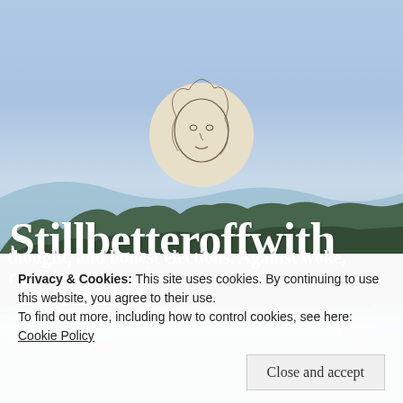[Figure (illustration): Background photo of blue sky with trees and buildings, with a circular avatar illustration of a woman's face drawn in pen/ink style on a beige circle in the center top area.]
Stillbetteroffwith Trump
thought, and honest elections. Against woke,
Privacy & Cookies: This site uses cookies. By continuing to use this website, you agree to their use.
To find out more, including how to control cookies, see here: Cookie Policy
Close and accept